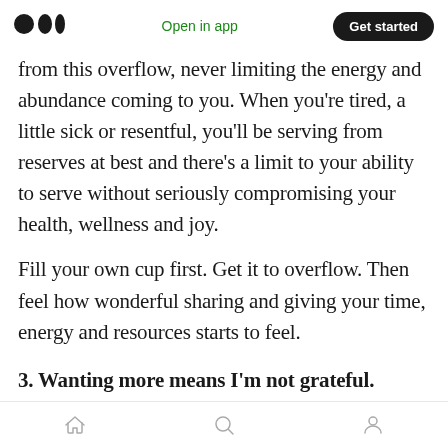Medium logo | Open in app | Get started
from this overflow, never limiting the energy and abundance coming to you. When you're tired, a little sick or resentful, you'll be serving from reserves at best and there's a limit to your ability to serve without seriously compromising your health, wellness and joy.
Fill your own cup first. Get it to overflow. Then feel how wonderful sharing and giving your time, energy and resources starts to feel.
3. Wanting more means I'm not grateful.
Actually, both can happen. Feeling grateful's the
Home | Search | Profile